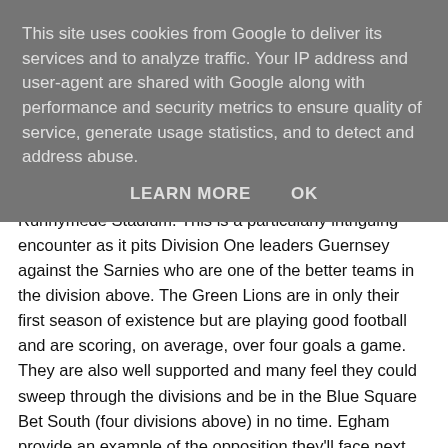This site uses cookies from Google to deliver its services and to analyze traffic. Your IP address and user-agent are shared with Google along with performance and security metrics to ensure quality of service, generate usage statistics, and to detect and address abuse.
LEARN MORE   OK
Runnymede Stadium. This is a particularly intriguing encounter as it pits Division One leaders Guernsey against the Sarnies who are one of the better teams in the division above. The Green Lions are in only their first season of existence but are playing good football and are scoring, on average, over four goals a game. They are also well supported and many feel they could sweep through the divisions and be in the Blue Square Bet South (four divisions above) in no time. Egham provide an example of the opposition they'll face next season so it will be interesting to see how they fare.
If you're coming to London or have any questions about watching football here please don't hesitate to get in touch.